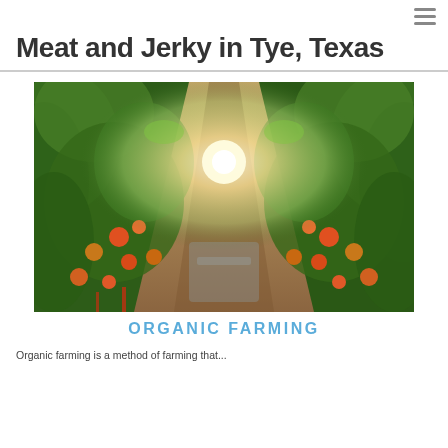☰
Meat and Jerky in Tye, Texas
[Figure (photo): A lush farm row of tomato plants with green and orange tomatoes hanging from vines on both sides of a dirt path. Bright sunlight floods in from the far end of the row, creating a warm, glowing effect. Water appears to be flowing or reflecting on the ground.]
ORGANIC FARMING
Organic farming is a method of...